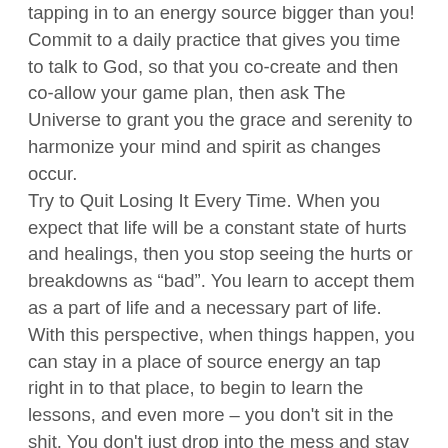tapping in to an energy source bigger than you! Commit to a daily practice that gives you time to talk to God, so that you co-create and then co-allow your game plan, then ask The Universe to grant you the grace and serenity to harmonize your mind and spirit as changes occur. Try to Quit Losing It Every Time. When you expect that life will be a constant state of hurts and healings, then you stop seeing the hurts or breakdowns as “bad”. You learn to accept them as a part of life and a necessary part of life. With this perspective, when things happen, you can stay in a place of source energy an tap right in to that place, to begin to learn the lessons, and even more – you don't sit in the shit. You don't just drop into the mess and stay there, because your mind is already aware and prepared to support you in the healing process, so that you become a better human soul in this life. One of my clients has a child living with a chronic